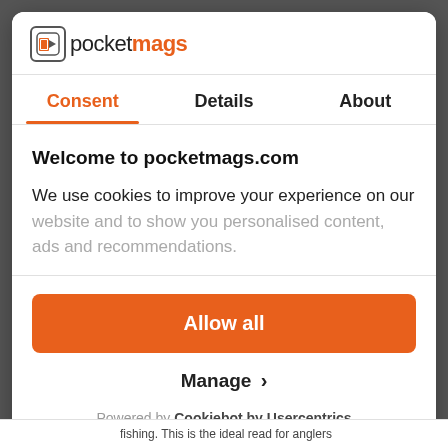[Figure (logo): Pocketmags logo with icon and text]
Consent | Details | About
Welcome to pocketmags.com
We use cookies to improve your experience on our website and to show you personalised content, ads and recommendations.
Allow all
Manage ›
Powered by Cookiebot by Usercentrics
fishing. This is the ideal read for anglers